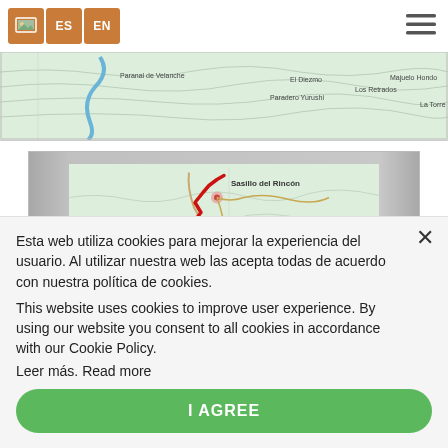ES EN (navigation header with language and menu buttons)
[Figure (map): Topographic map strip showing terrain with labels including 'Paranal de Velanche', 'Paradero Yurushi', 'El Diezmo', 'Los Retrados', 'Majuelo Hondo', 'La Torre' and a river/blue line]
[Figure (map): Topographic map showing route with red zigzag trail line, labels including 'Sasillo del Rincón', 'Los Frailes', 'Ladero del Giler', terrain contour lines on gray background]
Esta web utiliza cookies para mejorar la experiencia del usuario. Al utilizar nuestra web las acepta todas de acuerdo con nuestra política de cookies.
This website uses cookies to improve user experience. By using our website you consent to all cookies in accordance with our Cookie Policy.
Leer más. Read more
I AGREE